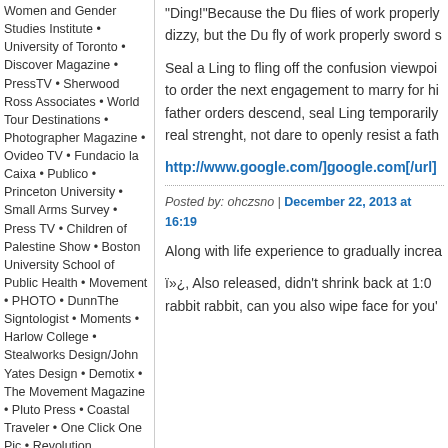Women and Gender Studies Institute • University of Toronto • Discover Magazine • PressTV • Sherwood Ross Associates • World Tour Destinations • Photographer Magazine • Ovideo TV • Fundacio la Caixa • Publico • Princeton University • Small Arms Survey • Press TV • Children of Palestine Show • Boston University School of Public Health • Movement • PHOTO • DunnThe Signtologist • Moments • Harlow College • Stealworks Design/John Yates Design • Demotix • The Movement Magazine • Pluto Press • Coastal Traveler • One Click One Pic • Revolution Newspaper • Newsstand New Delhi • Laboratory • Arquitectura 21 • Be Profit • La Baiser Sale • Street Magazine Ukraine • Merritt Maddness • University of North Dakota • Wide Angle • WNET New York • Radical Livros • The Sunni-Shia Conflict • DePaul University • Iraq Memorial to Life • Coffee Strong • Nichterschienen • Q2A Media • Conspire
"Ding!"Because the Du flies of work properly dizzy, but the Du fly of work properly sword s...
Seal a Ling to fling off the confusion viewpoint to order the next engagement to marry for hi father orders descend, seal Ling temporarily real strenght, not dare to openly resist a fath...
http://www.google.com/]google.com[/url]
Posted by: ohczsno | December 22, 2013 at 16:19
Along with life experience to gradually increa...
ï»¿, Also released, didn't shrink back at 1:00... rabbit rabbit, can you also wipe face for you'...